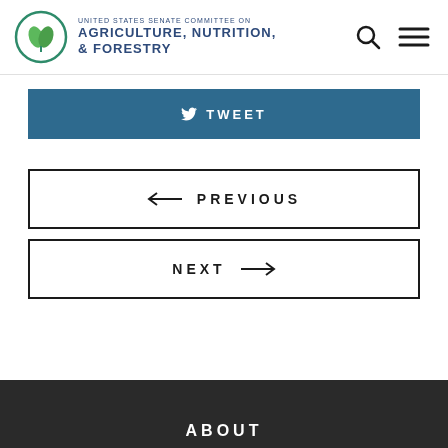UNITED STATES SENATE COMMITTEE ON AGRICULTURE, NUTRITION, & FORESTRY
TWEET
← PREVIOUS
NEXT →
ABOUT